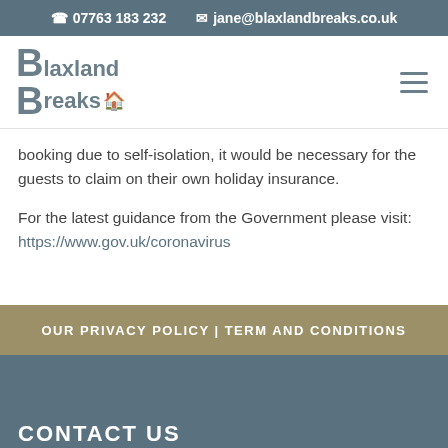07763 183 232  jane@blaxlandbreaks.co.uk
[Figure (logo): Blaxland Breaks logo with house icon]
booking due to self-isolation, it would be necessary for the guests to claim on their own holiday insurance.
For the latest guidance from the Government please visit:  https://www.gov.uk/coronavirus
OUR PRIVACY POLICY | TERM AND CONDITIONS
CONTACT US